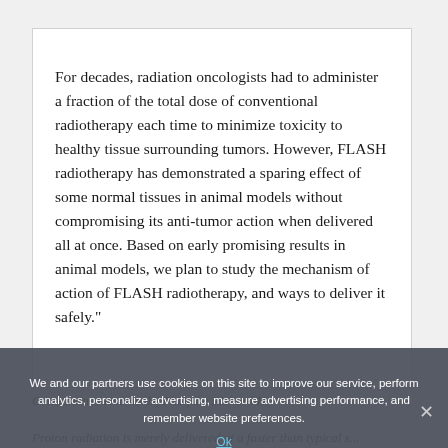For decades, radiation oncologists had to administer a fraction of the total dose of conventional radiotherapy each time to minimize toxicity to healthy tissue surrounding tumors. However, FLASH radiotherapy has demonstrated a sparing effect of some normal tissues in animal models without compromising its anti-tumor action when delivered all at once. Based on early promising results in animal models, we plan to study the mechanism of action of FLASH radiotherapy, and ways to deliver it safely."
Constantinos Koumenis, PhD, the Richard H.
We and our partners use cookies on this site to improve our service, perform analytics, personalize advertising, measure advertising performance, and remember website preferences.
Ok
Proton radiation is merely delivered at a faster than typical s...